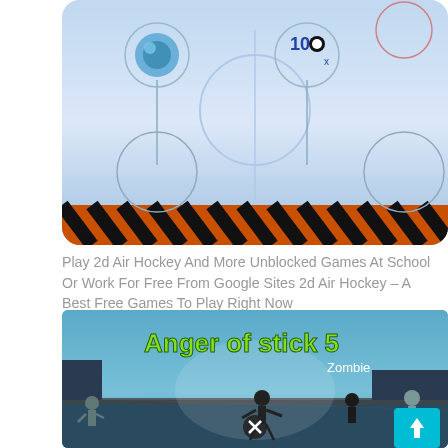[Figure (illustration): Air hockey game screenshot showing a 2D air hockey table with blue/light rink area, orange/black border at bottom, circular pucks and striker markers, and a game logo in the center]
Play 2d Air Hockey And More Unblocked Games At School Or Work For Free From Google Sites 2d Air Hockey – A Best Free Games To Play Right Now
See also  How To Unblock On Fortnite Nintendo Switch
[Figure (illustration): Anger of Stick 5 Zombie game banner showing stick figure characters and zombies with the game title in green letters against a blue sky background]